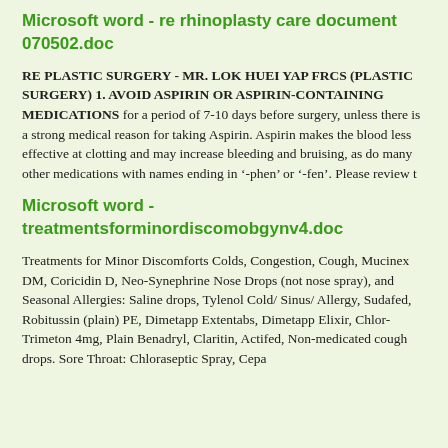Microsoft word - re rhinoplasty care document 070502.doc
RE PLASTIC SURGERY - MR. LOK HUEI YAP FRCS (PLASTIC SURGERY) 1. AVOID ASPIRIN OR ASPIRIN-CONTAINING MEDICATIONS for a period of 7-10 days before surgery, unless there is a strong medical reason for taking Aspirin. Aspirin makes the blood less effective at clotting and may increase bleeding and bruising, as do many other medications with names ending in ‘-phen’ or ‘-fen’. Please review t
Microsoft word - treatmentsforminordiscomobgynv4.doc
Treatments for Minor Discomforts Colds, Congestion, Cough, Mucinex DM, Coricidin D, Neo-Synephrine Nose Drops (not nose spray), and Seasonal Allergies: Saline drops, Tylenol Cold/ Sinus/ Allergy, Sudafed, Robitussin (plain) PE, Dimetapp Extentabs, Dimetapp Elixir, Chlor-Trimeton 4mg, Plain Benadryl, Claritin, Actifed, Non-medicated cough drops. Sore Throat: Chloraseptic Spray, Cepa